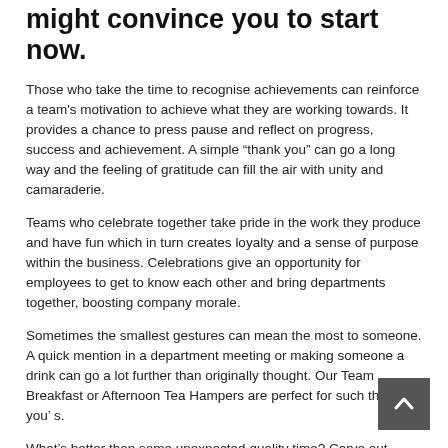might convince you to start now.
Those who take the time to recognise achievements can reinforce a team's motivation to achieve what they are working towards. It provides a chance to press pause and reflect on progress, success and achievement. A simple “thank you” can go a long way and the feeling of gratitude can fill the air with unity and camaraderie.
Teams who celebrate together take pride in the work they produce and have fun which in turn creates loyalty and a sense of purpose within the business. Celebrations give an opportunity for employees to get to know each other and bring departments together, boosting company morale.
Sometimes the smallest gestures can mean the most to someone. A quick mention in a department meeting or making someone a drink can go a lot further than originally thought. Our Team Breakfast or Afternoon Tea Hampers are perfect for such thank you’ s.
What’s better than some unexpected quality time? Carve out some time to open one of our sharing hampers for the office or meeting. Our hampers can also be given at the end of a probation period or employment anniversary, why not surprise them with a bottle of champagne or prosecco. It doesn’t need to cost the earth to the company, but it will mean so much to the employee.
Visit www.hampers.co.uk or call 01476 550420 for more information